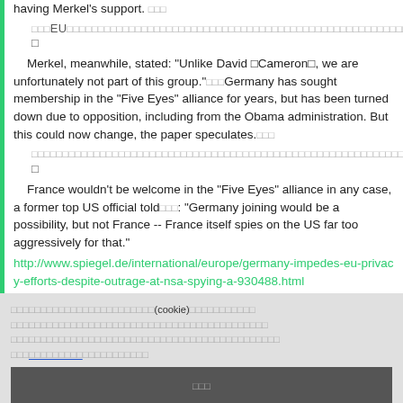having Merkel's support. [squares] [squares]EU[squares] Merkel, meanwhile, stated: "Unlike David [Cameron], we are unfortunately not part of this group."[squares][squares]Germany has sought membership in the "Five Eyes" alliance for years, but has been turned down due to opposition, including from the Obama administration. But this could now change, the paper speculates.[squares][squares] [blockquote squares] France wouldn't be welcome in the "Five Eyes" alliance in any case, a former top US official told[squares]: "Germany joining would be a possibility, but not France -- France itself spies on the US far too aggressively for that." http://www.spiegel.de/international/europe/germany-impedes-eu-privacy-efforts-despite-outrage-at-nsa-spying-a-930488.html
[cookie notice text in Japanese with (cookie) and link and button]